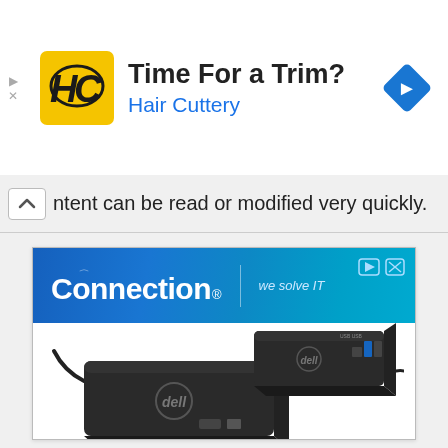[Figure (screenshot): Hair Cuttery advertisement banner with yellow HC logo, title 'Time For a Trim?' and blue subtitle 'Hair Cuttery', with a blue diamond navigation icon on the right]
ntent can be read or modified very quickly.
[Figure (screenshot): Connection 'we solve IT' advertisement banner showing Dell docking stations on white background, with blue gradient header]